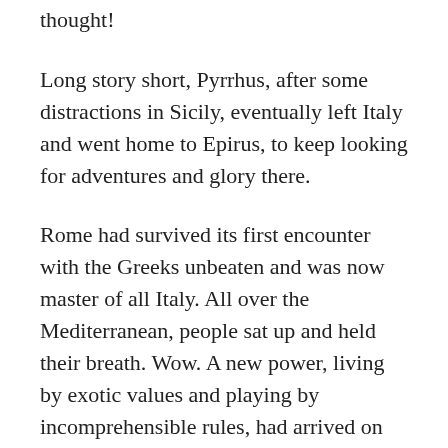thought!
Long story short, Pyrrhus, after some distractions in Sicily, eventually left Italy and went home to Epirus, to keep looking for adventures and glory there.
Rome had survived its first encounter with the Greeks unbeaten and was now master of all Italy. All over the Mediterranean, people sat up and held their breath. Wow. A new power, living by exotic values and playing by incomprehensible rules, had arrived on the scene.